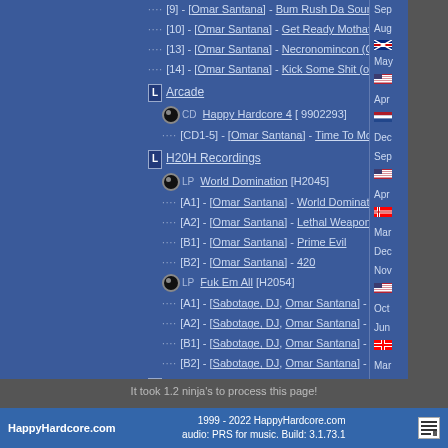[9] - [Omar Santana] - Bum Rush Da Sound
[10] - [Omar Santana] - Get Ready Mothafukas
[13] - [Omar Santana] - Necronomincon (Omar's Mix)
[14] - [Omar Santana] - Kick Some Shit (original mix)
L Arcade
CD Happy Hardcore 4 [ 9902293]
[CD1-5] - [Omar Santana] - Time To Motivate (Happy Mix)
L H20H Recordings
LP World Domination [H2045]
[A1] - [Omar Santana] - World Domination
[A2] - [Omar Santana] - Lethal Weapon
[B1] - [Omar Santana] - Prime Evil
[B2] - [Omar Santana] - 420
LP Fuk Em All [H2054]
[A1] - [Sabotage, DJ, Omar Santana] - Fuk Em All
[A2] - [Sabotage, DJ, Omar Santana] - Smash The Walls
[B1] - [Sabotage, DJ, Omar Santana] - This Shit is Mine
[B2] - [Sabotage, DJ, Omar Santana] - Diabolical
L Slamm (Australia)
CD Happy Hardcore [SLAsla066]
[2-19] - [Scott Brown, Omar Santana] - Ain't It Wild
It took 1.2 ninja's to process this page!
HappyHardcore.com | 1999 - 2022 HappyHardcore.com audio: PRS for music. Build: 3.1.73.1